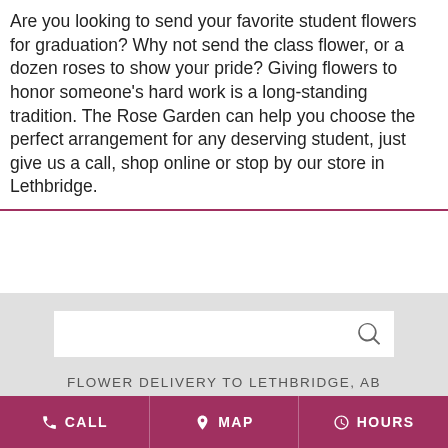Are you looking to send your favorite student flowers for graduation? Why not send the class flower, or a dozen roses to show your pride? Giving flowers to honor someone's hard work is a long-standing tradition. The Rose Garden can help you choose the perfect arrangement for any deserving student, just give us a call, shop online or stop by our store in Lethbridge.
[Figure (screenshot): Search input box with magnifying glass icon on gray background]
FLOWER DELIVERY TO LETHBRIDGE, AB
SEE DELIVERY AREAS
ABOUT US
REVIEWS
CALL   MAP   HOURS